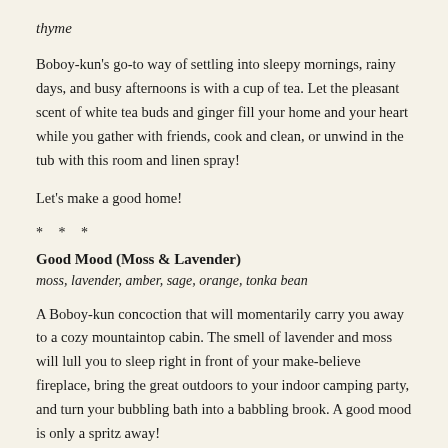thyme
Boboy-kun's go-to way of settling into sleepy mornings, rainy days, and busy afternoons is with a cup of tea. Let the pleasant scent of white tea buds and ginger fill your home and your heart while you gather with friends, cook and clean, or unwind in the tub with this room and linen spray!
Let's make a good home!
* * *
Good Mood (Moss & Lavender)
moss, lavender, amber, sage, orange, tonka bean
A Boboy-kun concoction that will momentarily carry you away to a cozy mountaintop cabin. The smell of lavender and moss will lull you to sleep right in front of your make-believe fireplace, bring the great outdoors to your indoor camping party, and turn your bubbling bath into a babbling brook. A good mood is only a spritz away!